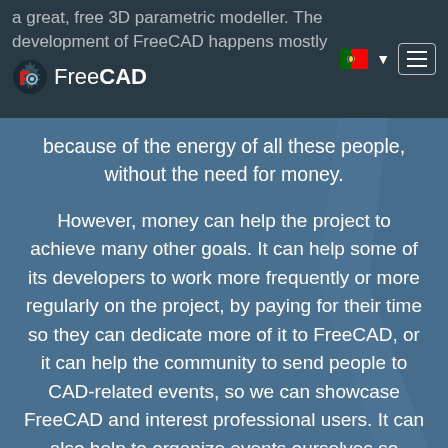a great, free 3D parametric modeller. The development of FreeCAD happens mostly
because of the energy of all these people, without the need for money.
However, money can help the project to achieve many other goals. It can help some of its developers to work more frequently or more regularly on the project, by paying for their time so they can dedicate more of it to FreeCAD, or it can help the community to send people to CAD-related events, so we can showcase FreeCAD and interest professional users. It can also help to organize events ourselves so community members can meet, pay for server space and web services, and many other things.